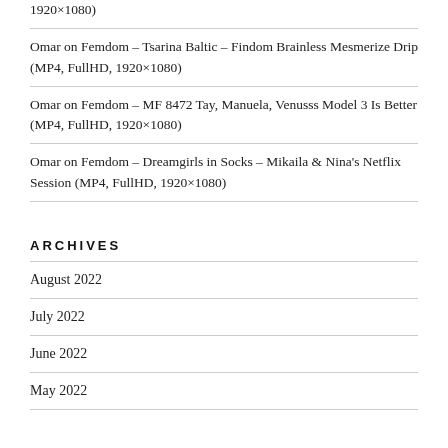1920×1080)
Omar on Femdom – Tsarina Baltic – Findom Brainless Mesmerize Drip (MP4, FullHD, 1920×1080)
Omar on Femdom – MF 8472 Tay, Manuela, Venusss Model 3 Is Better (MP4, FullHD, 1920×1080)
Omar on Femdom – Dreamgirls in Socks – Mikaila & Nina's Netflix Session (MP4, FullHD, 1920×1080)
ARCHIVES
August 2022
July 2022
June 2022
May 2022